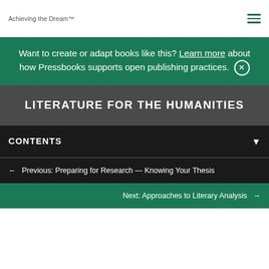Achieving the Dream™
Want to create or adapt books like this? Learn more about how Pressbooks supports open publishing practices.
LITERATURE FOR THE HUMANITIES
CONTENTS
← Previous: Preparing for Research — Knowing Your Thesis
Next: Approaches to Literary Analysis →